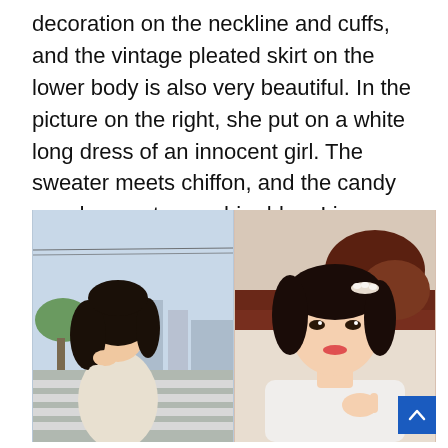decoration on the neckline and cuffs, and the vintage pleated skirt on the lower body is also very beautiful. In the picture on the right, she put on a white long dress of an innocent girl. The sweater meets chiffon, and the candy powder meets sapphire blue. Li Xianbin's style is full of fashion sense.
[Figure (photo): Two side-by-side photos. Left: a young woman with long dark wavy hair, resting her chin on her hand, wearing a cream ribbed sweater, photographed outdoors on a sunny street with a crosswalk visible. Right: a young woman with dark hair pulled back with a pearl clip, wearing a white outfit, taking a selfie indoors near dark wooden furniture.]